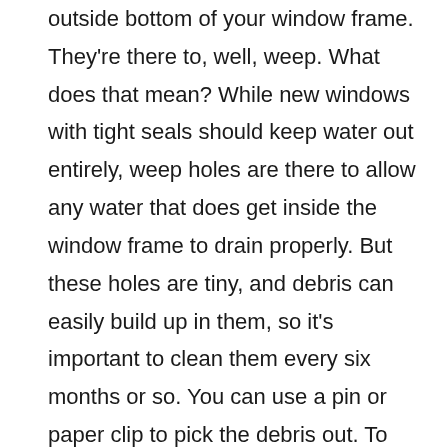outside bottom of your window frame. They're there to, well, weep. What does that mean? While new windows with tight seals should keep water out entirely, weep holes are there to allow any water that does get inside the window frame to drain properly. But these holes are tiny, and debris can easily build up in them, so it's important to clean them every six months or so. You can use a pin or paper clip to pick the debris out. To make sure they're clear, spray water onto your window and check to make sure it leaks out. If it doesn't, it means one of two things: the weep holes are still clogged, or they're currently redundant due to a